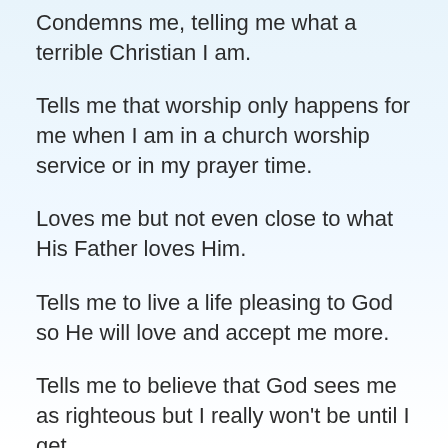Condemns me, telling me what a terrible Christian I am.
Tells me that worship only happens for me when I am in a church worship service or in my prayer time.
Loves me but not even close to what His Father loves Him.
Tells me to live a life pleasing to God so He will love and accept me more.
Tells me to believe that God sees me as righteous but I really won't be until I get